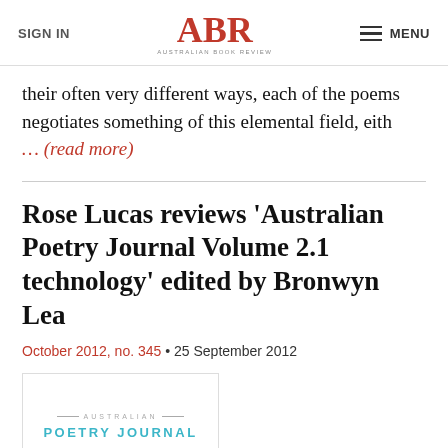SIGN IN | ABR AUSTRALIAN BOOK REVIEW | MENU
their often very different ways, each of the poems negotiates something of this elemental field, eith ... (read more)
Rose Lucas reviews 'Australian Poetry Journal Volume 2.1 technology' edited by Bronwyn Lea
October 2012, no. 345 • 25 September 2012
[Figure (other): Book cover for Australian Poetry Journal showing the title 'POETRY JOURNAL' in teal letters with 'AUSTRALIAN' above in small grey text with decorative lines]